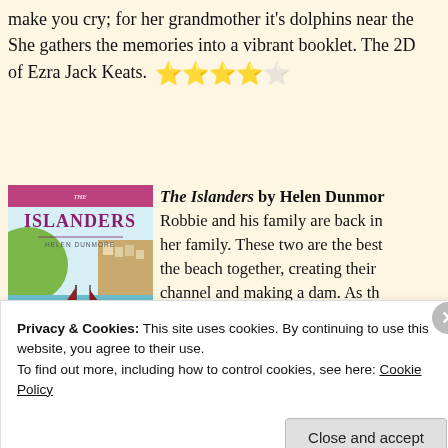make you cry; for her grandmother it's dolphins near the shore. She gathers the memories into a vibrant booklet. The 2D… of Ezra Jack Keats. ★★★★☆
[Figure (illustration): Book cover of 'The Islanders' by Helen Dunmore, showing a sailboat with red sails on turquoise water near a coastal village.]
The Islanders by Helen Dunmore. Robbie and his family are back in… her family. These two are the best… the beach together, creating their… channel and making a dam. As th… toward an end, a magical night-ti…
Privacy & Cookies: This site uses cookies. By continuing to use this website, you agree to their use.
To find out more, including how to control cookies, see here: Cookie Policy